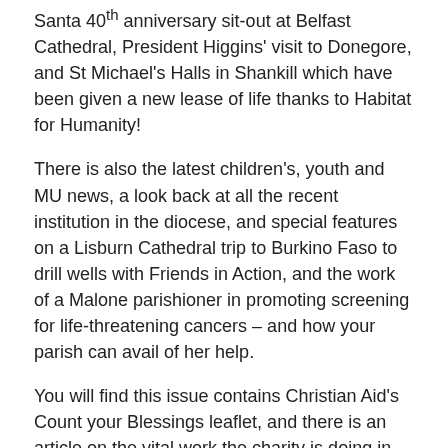Santa 40th anniversary sit-out at Belfast Cathedral, President Higgins' visit to Donegore, and St Michael's Halls in Shankill which have been given a new lease of life thanks to Habitat for Humanity!
There is also the latest children's, youth and MU news, a look back at all the recent institution in the diocese, and special features on a Lisburn Cathedral trip to Burkino Faso to drill wells with Friends in Action, and the work of a Malone parishioner in promoting screening for life-threatening cancers – and how your parish can avail of her help.
You will find this issue contains Christian Aid's Count your Blessings leaflet, and there is an article on the vital work the charity is doing in South Sudan, a country close to Connor's heart as we have had partnership with Yei Diocese in South Sudan for many years.
If there is a story you would like to see featured in a future